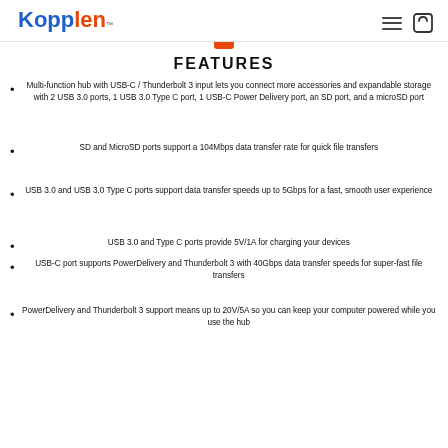Kopplen™
FEATURES
Multi-function hub with USB-C / Thunderbolt 3 input lets you connect more accessories and expandable storage with 2 USB 3.0 ports, 1 USB 3.0 Type C port, 1 USB-C Power Delivery port, an SD port, and a microSD port
SD and MicroSD ports support a 104Mbps data transfer rate for quick file transfers
USB 3.0 and USB 3.0 Type C ports support data transfer speeds up to 5Gbps for a fast, smooth user experience
USB 3.0 and Type C ports provide 5V/1A for charging your devices
USB-C port supports PowerDelivery and Thunderbolt 3 with 40Gbps data transfer speeds for super-fast file transfers
PowerDelivery and Thunderbolt 3 support means up to 20V/5A so you can keep your computer powered while you use the hub